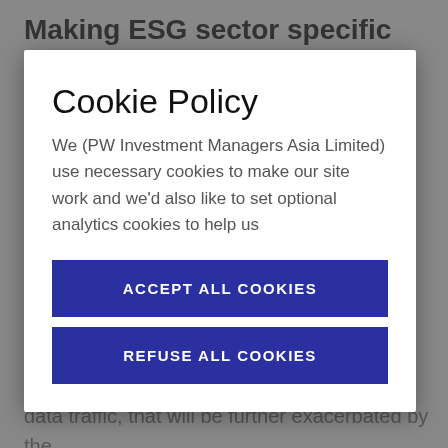Making ESG sector specific
Cookie Policy
We (PW Investment Managers Asia Limited) use necessary cookies to make our site work and we'd also like to set optional analytics cookies to help us
ACCEPT ALL COOKIES
REFUSE ALL COOKIES
One example of this in telecoms is in the exponential rise in connectivity needs and data traffic, that will be further exacerbated by the